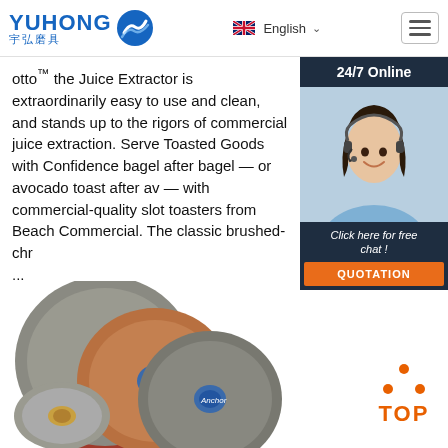YUHONG 宇弘磨具 | English
otto™ the Juice Extractor is extraordinarily easy to use and clean, and stands up to the rigors of commercial juice extraction. Serve Toasted Goods with Confidence bagel after bagel — or avocado toast after av — with commercial-quality slot toasters from Beach Commercial. The classic brushed-chr ...
Get Price
[Figure (screenshot): 24/7 Online chat widget with female agent wearing headset, Click here for free chat!, QUOTATION button]
[Figure (photo): Grinding wheels / abrasive discs product photo with Anchor brand label, multiple discs stacked]
[Figure (logo): TOP badge with orange dots arranged in triangle and orange TOP text]